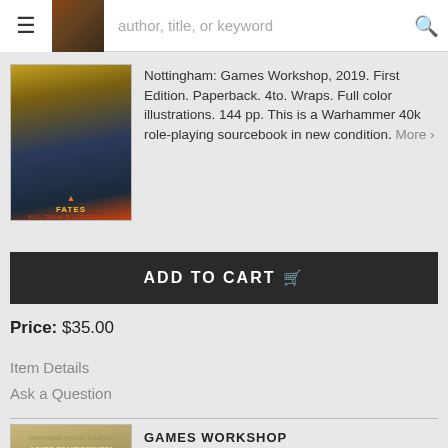author, title, or keyword
[Figure (photo): Book cover for Warhammer 40,000 Kill Team Fates sourcebook, showing armored space marines in dark tones with orange accents]
Nottingham: Games Workshop, 2019. First Edition. Paperback. 4to. Wraps. Full color illustrations. 144 pp. This is a Warhammer 40k role-playing sourcebook in new condition. More ›
ADD TO CART
Price: $35.00
Item Details
Ask a Question
[Figure (photo): Book cover for Warhammer Fantasy Roleplay: Ashes of Middenheim, showing text on aged parchment-like background with orange and brown tones]
GAMES WORKSHOP
Warhammer Fantasy Roleplay: Ashes of Middenheim: Paths of